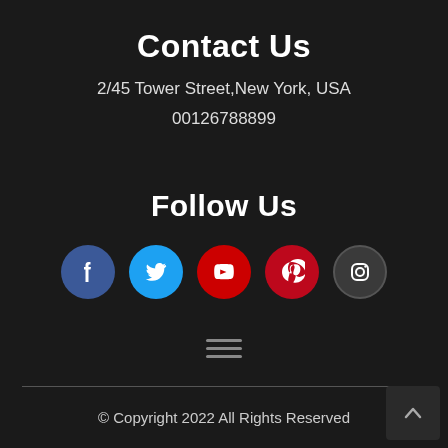Contact Us
2/45 Tower Street,New York, USA
00126788899
Follow Us
[Figure (infographic): Five social media icon buttons in circles: Facebook (blue), Twitter (light blue), YouTube (red), Pinterest (red), Instagram (dark grey)]
[Figure (other): Hamburger menu icon with three horizontal lines]
© Copyright 2022 All Rights Reserved